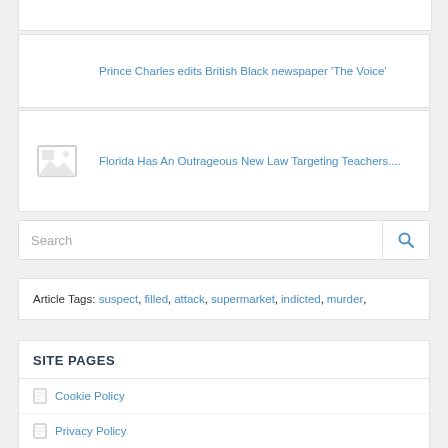Prince Charles edits British Black newspaper 'The Voice'
Florida Has An Outrageous New Law Targeting Teachers....
Search
Article Tags: suspect, filled, attack, supermarket, indicted, murder,
SITE PAGES
Cookie Policy
Privacy Policy